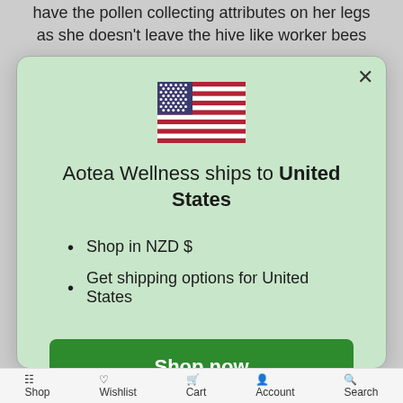...have the pollen collecting attributes on her legs as she doesn't leave the hive like worker bees
[Figure (illustration): US flag emoji/icon centered in modal]
Aotea Wellness ships to United States
Shop in NZD $
Get shipping options for United States
Shop now
Change shipping country
Shop   Wishlist   Cart   Account   Search